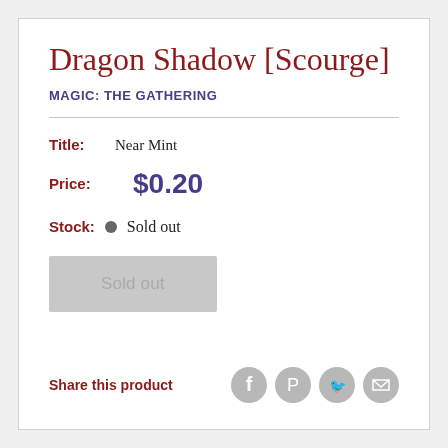Dragon Shadow [Scourge]
MAGIC: THE GATHERING
Title: Near Mint
Price: $0.20
Stock: Sold out
Sold out
Share this product